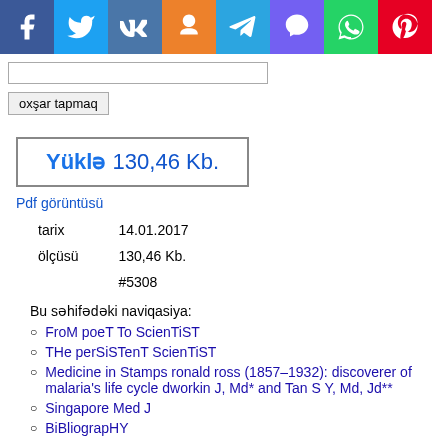[Figure (other): Social media sharing icons bar: Facebook, Twitter, VK, Odnoklassniki, Telegram, Viber, WhatsApp, Pinterest]
oxşar tapmaq (search input and button)
Yüklə 130,46 Kb.
Pdf görüntüsü
| tarix | 14.01.2017 |
| ölçüsü | 130,46 Kb. |
|  | #5308 |
Bu səhifədəki naviqasiya:
FroM poeT To ScienTiST
THe perSiSTenT ScienTiST
Medicine in Stamps ronald ross (1857–1932): discoverer of malaria's life cycle dworkin J, Md* and Tan S Y, Md, Jd**
Singapore Med J
BiBliograpHY